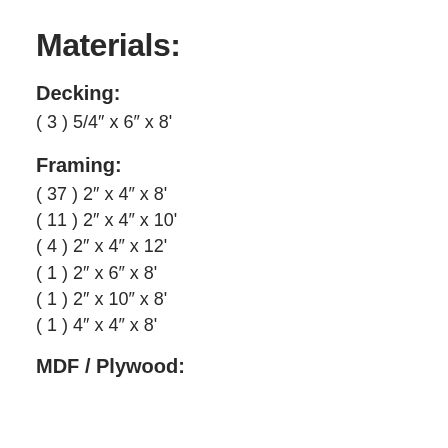Materials:
Decking:
( 3 ) 5/4" x 6" x 8'
Framing:
( 37 ) 2" x 4" x 8'
( 11 ) 2" x 4" x 10'
( 4 ) 2" x 4" x 12'
( 1 ) 2" x 6" x 8'
( 1 ) 2" x 10" x 8'
( 1 ) 4" x 4" x 8'
MDF / Plywood: